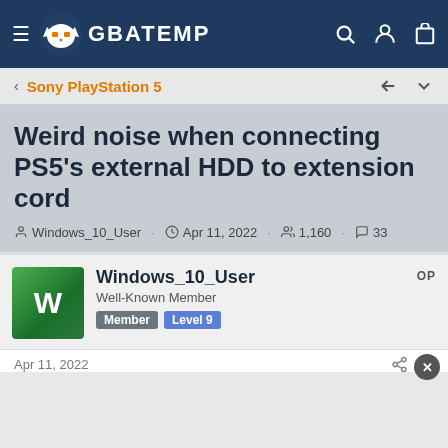GBATEMP
Sony PlayStation 5
Weird noise when connecting PS5's external HDD to extension cord
Windows_10_User · Apr 11, 2022 · 1,160 · 33
Windows_10_User
Well-Known Member
Member  Level 9
OP
Apr 11, 2022  #1
Every day, before going to bed, I click the external HDD's red button in which the PS5's external HDD is connected to just to be sure because the PS5's external HDD or the extension cord in which the former is